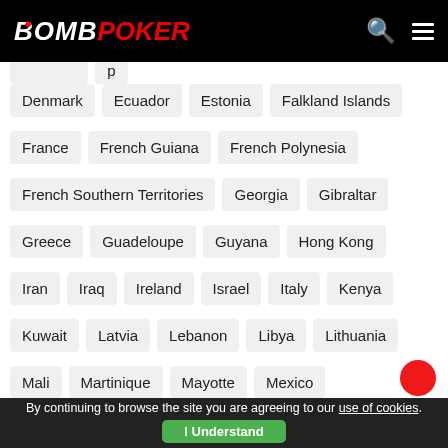BOMB POKER
(partial top row - partially visible)
Denmark, Ecuador, Estonia, Falkland Islands
France, French Guiana, French Polynesia
French Southern Territories, Georgia, Gibraltar
Greece, Guadeloupe, Guyana, Hong Kong
Iran, Iraq, Ireland, Israel, Italy, Kenya
Kuwait, Latvia, Lebanon, Libya, Lithuania
Mali, Martinique, Mayotte, Mexico
Montenegro, Montserrat, Netherlands
Netherlands Antilles, Netherlands Caribbean Islands
By continuing to browse the site you are agreeing to our use of cookies. I Understand